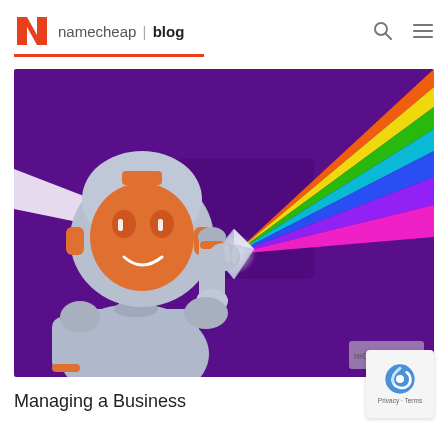namecheap | blog
[Figure (illustration): Illustration of a robot holding a glass prism that splits a white light beam into a rainbow spectrum, set against a purple background.]
Managing a Business